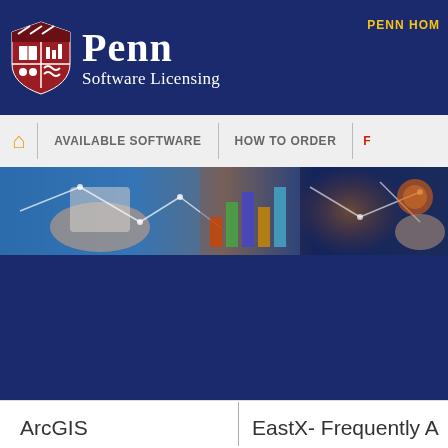Penn Software Licensing
PENN HOME
AVAILABLE SOFTWARE   HOW TO ORDER   F...
[Figure (photo): Hero band image showing hands holding a tablet with network/technology overlay graphics and colorful data visualizations]
ArcGIS
EastX- Frequently A...